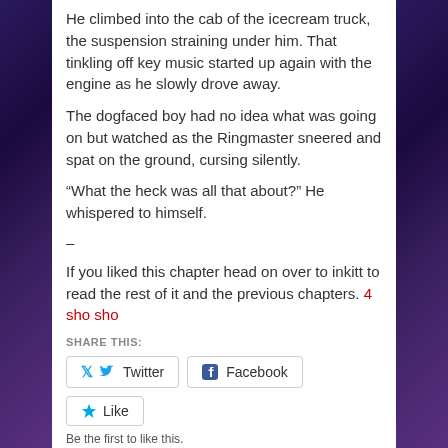He climbed into the cab of the icecream truck, the suspension straining under him. That tinkling off key music started up again with the engine as he slowly drove away.
The dogfaced boy had no idea what was going on but watched as the Ringmaster sneered and spat on the ground, cursing silently.
“What the heck was all that about?” He whispered to himself.
–
If you liked this chapter head on over to inkitt to read the rest of it and the previous chapters. 4 sho sho
SHARE THIS:
Twitter  Facebook  Like  Be the first to like this.